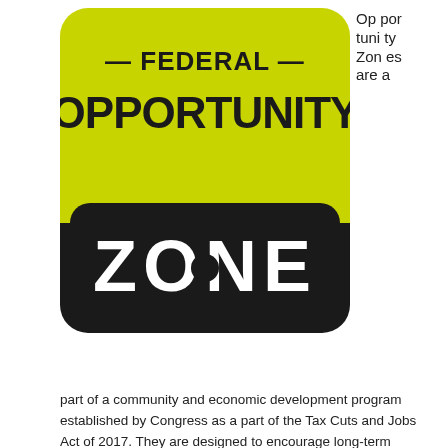[Figure (logo): Federal Opportunity Zone logo: yellow-green rounded rectangle with black text '— FEDERAL OPPORTUNITY —' and black bar with white text 'ZONE']
Opportunity Zones are a part of a community and economic development program established by Congress as a part of the Tax Cuts and Jobs Act of 2017. They are designed to encourage long-term private investment in low-income and/or rural communities. This program provides a federal tax incentive for taxpayers who reinvest unrealized capital gains into Opportunity Funds, which are specialized vehicles dedicated to investing in Opportunity Zones.
The zones themselves are comprised of lower-income community census tracts and designated by governors in every state. Maryland has designated 149 Opportunity Zones across the state. Qualifying Zones are based on the